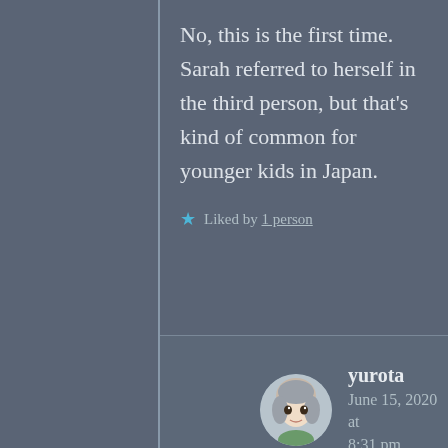No, this is the first time. Sarah referred to herself in the third person, but that's kind of common for younger kids in Japan.
★ Liked by 1 person
yurota
June 15, 2020 at 8:31 pm
So does that means the